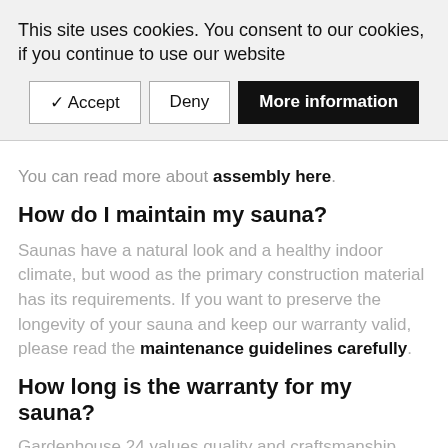This site uses cookies. You consent to our cookies, if you continue to use our website
✔ Accept | Deny | More information
You can read more about assembly here.
How do I maintain my sauna?
Saunas have a natural look and a healthy indoor climate, but wood as the primary construction material has its requirements. If you want to preserve the longevity of your sauna and keep our warranty valid, please read the maintenance guidelines carefully.
How long is the warranty for my sauna?
Gardenhouse 24 values quality and craftsmanship.